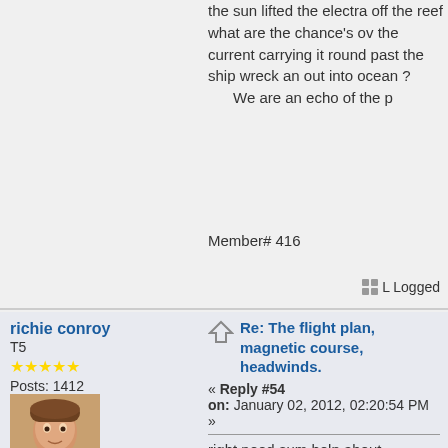the sun lifted the electra off the reef what are the chance's ov the current carrying it round past the ship wreck an out into ocean ?   We are an echo of the p
Member# 416
Logged
richie conroy
T5
★★★★★
Posts: 1412
[Figure (photo): Profile photo of richie conroy, a man with short hair]
x
Re: The flight plan, magnetic course, headwinds.
« Reply #54 on: January 02, 2012, 02:20:54 PM »
right need sum help about earharts electra, the roof